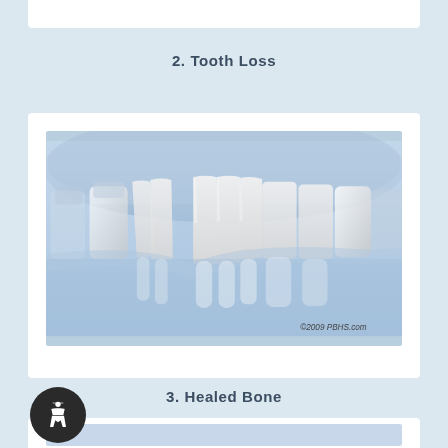2. Tooth Loss
[Figure (illustration): 3D dental illustration showing teeth and jaw bone structure with missing tooth area, copyright 2009 PBHS.com]
3. Healed Bone
[Figure (illustration): Partial view of healed bone dental illustration at bottom of page]